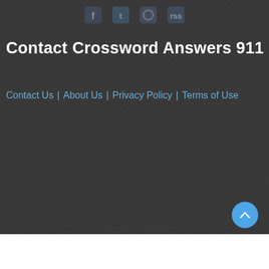Contact Us | About Us | Privacy Policy | Terms of Use
Contact Crossword Answers 911
Contact Us | About Us | Privacy Policy | Terms of Use